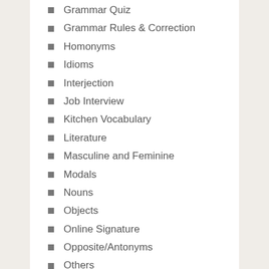Grammar Quiz
Grammar Rules & Correction
Homonyms
Idioms
Interjection
Job Interview
Kitchen Vocabulary
Literature
Masculine and Feminine
Modals
Nouns
Objects
Online Signature
Opposite/Antonyms
Others
Parts of speech
Pets Vocabulary